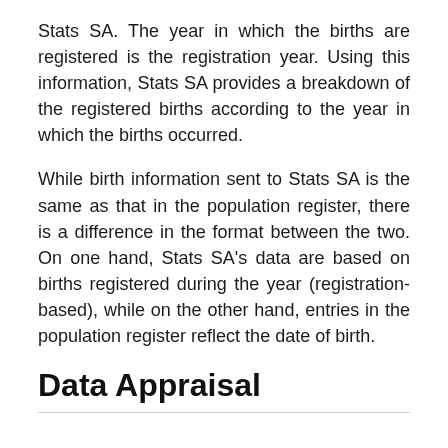Stats SA. The year in which the births are registered is the registration year. Using this information, Stats SA provides a breakdown of the registered births according to the year in which the births occurred.
While birth information sent to Stats SA is the same as that in the population register, there is a difference in the format between the two. On one hand, Stats SA's data are based on births registered during the year (registration-based), while on the other hand, entries in the population register reflect the date of birth.
Data Appraisal